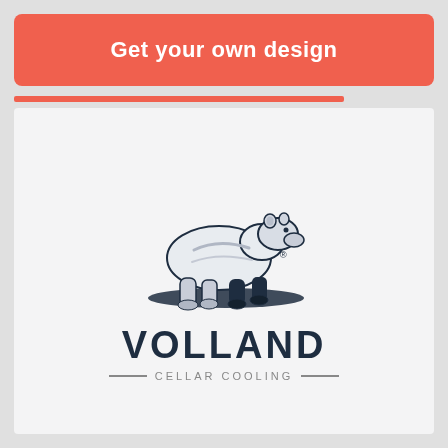Get your own design
[Figure (logo): Volland Cellar Cooling logo featuring a polar bear walking, with 'VOLLAND' in bold dark navy text and 'CELLAR COOLING' in smaller spaced gray text below, separated by horizontal lines]